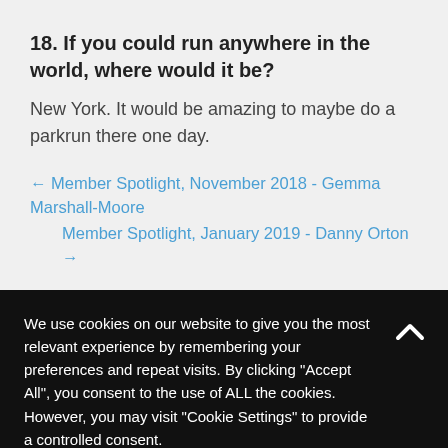18. If you could run anywhere in the world, where would it be?
New York. It would be amazing to maybe do a parkrun there one day.
← Member Spotlight, November 2018 - Gemma Marshall-Moore
Member Spotlight, January 2019 - Danny Orton →
We use cookies on our website to give you the most relevant experience by remembering your preferences and repeat visits. By clicking "Accept All", you consent to the use of ALL the cookies. However, you may visit "Cookie Settings" to provide a controlled consent.